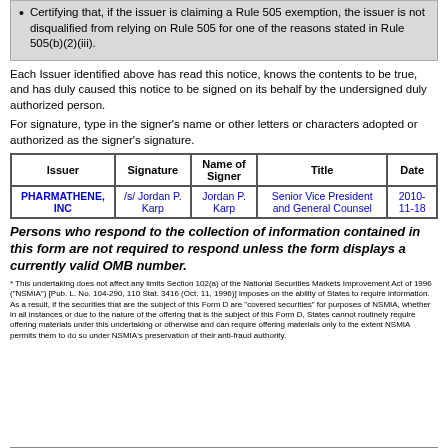Certifying that, if the issuer is claiming a Rule 505 exemption, the issuer is not disqualified from relying on Rule 505 for one of the reasons stated in Rule 505(b)(2)(iii).
Each Issuer identified above has read this notice, knows the contents to be true, and has duly caused this notice to be signed on its behalf by the undersigned duly authorized person.
For signature, type in the signer’s name or other letters or characters adopted or authorized as the signer’s signature.
| Issuer | Signature | Name of Signer | Title | Date |
| --- | --- | --- | --- | --- |
| PHARMATHENE, INC | /s/ Jordan P. Karp | Jordan P. Karp | Senior Vice President and General Counsel | 2010-11-18 |
Persons who respond to the collection of information contained in this form are not required to respond unless the form displays a currently valid OMB number.
* This undertaking does not affect any limits Section 102(a) of the National Securities Markets Improvement Act of 1996 (“NSMIA”) [Pub. L. No. 104-290, 110 Stat. 3416 (Oct. 11, 1996)] imposes on the ability of States to require information. As a result, if the securities that are the subject of this Form D are “covered securities” for purposes of NSMIA, whether in all instances or due to the nature of the offering that is the subject of this Form D, States cannot routinely require offering materials under this undertaking or otherwise and can require offering materials only to the extent NSMIA permits them to do so under NSMIA’s preservation of their anti-fraud authority.